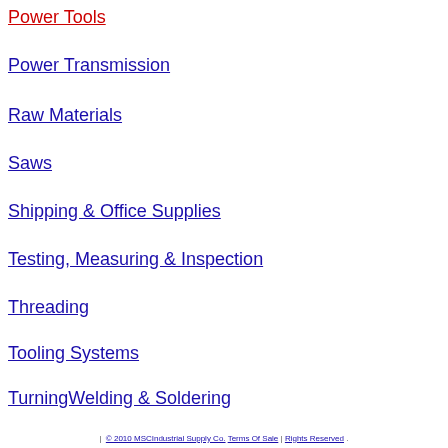Power Tools
Power Transmission
Raw Materials
Saws
Shipping & Office Supplies
Testing, Measuring & Inspection
Threading
Tooling Systems
TurningWelding & Soldering
| © 2010 MSCIndustrial Supply Co. Terms Of Sale | Rights Reserved.